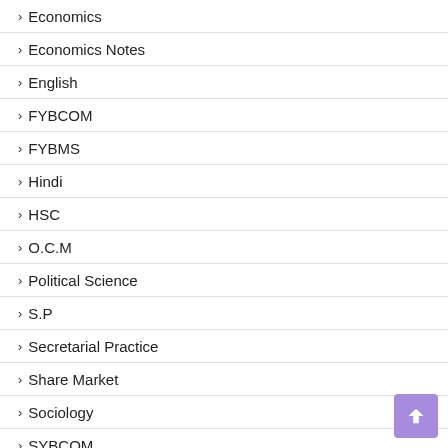Economics
Economics Notes
English
FYBCOM
FYBMS
Hindi
HSC
O.C.M
Political Science
S.P
Secretarial Practice
Share Market
Sociology
SYBCOM